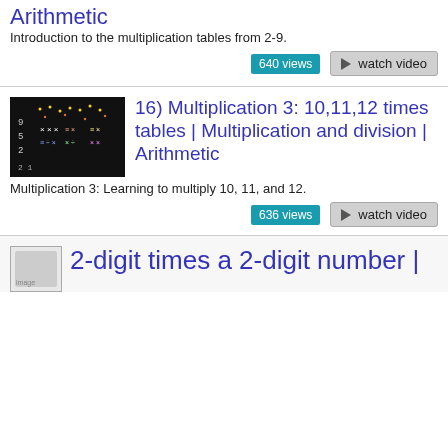Arithmetic
Introduction to the multiplication tables from 2-9.
640 views
watch video
[Figure (screenshot): Thumbnail image of a video showing a dark background with numbers and dots]
16) Multiplication 3: 10,11,12 times tables | Multiplication and division | Arithmetic
Multiplication 3: Learning to multiply 10, 11, and 12.
636 views
watch video
2-digit times a 2-digit number |